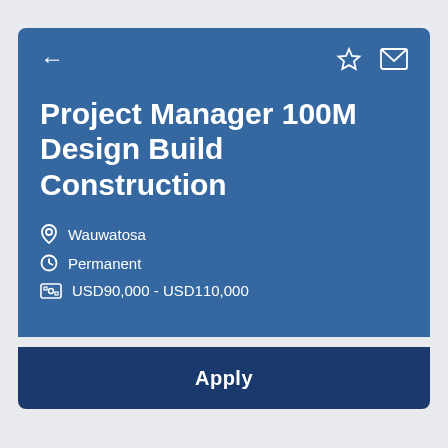Project Manager 100M Design Build Construction
Wauwatosa
Permanent
USD90,000 - USD110,000
Apply